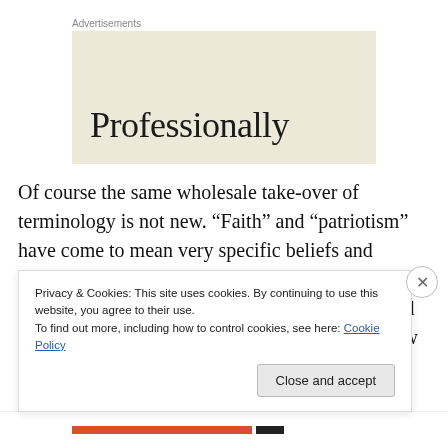Advertisements
[Figure (other): Advertisement box with beige background showing the word 'Professionally' in large serif font]
Of course the same wholesale take-over of terminology is not new. “Faith” and “patriotism” have come to mean very specific beliefs and practices. Believing in the potential of human beings to be their best selves and to reach out and help up is a definition of faith. Believing that how we treat
Privacy & Cookies: This site uses cookies. By continuing to use this website, you agree to their use.
To find out more, including how to control cookies, see here: Cookie Policy
Close and accept